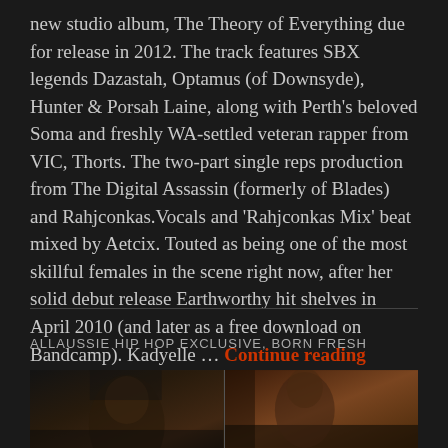new studio album, The Theory of Everything due for release in 2012. The track features SBX legends Dazastah, Optamus (of Downsyde), Hunter & Porsah Laine, along with Perth's beloved Soma and freshly WA-settled veteran rapper from VIC, Thorts. The two-part single reps production from The Digital Assassin (formerly of Blades) and Rahjconkas.Vocals and 'Rahjconkas Mix' beat mixed by Aetcix. Touted as being one of the most skillful females in the scene right now, after her solid debut release Earthworthy hit shelves in April 2010 (and later as a free download on Bandcamp). Kadyelle … Continue reading
ALLAUSSIE HIP HOP EXCLUSIVE, BORN FRESH
[Figure (photo): Two people photographed against a brick wall background, partially visible at the bottom of the page]